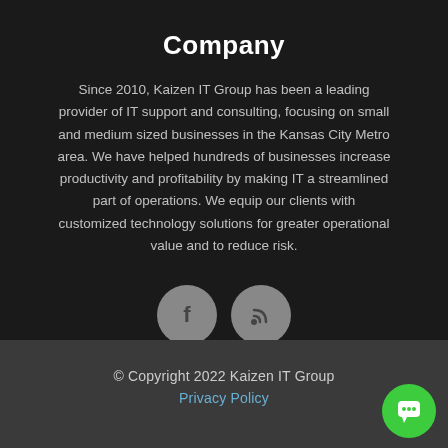Company
Since 2010, Kaizen IT Group has been a leading provider of IT support and consulting, focusing on small and medium sized businesses in the Kansas City Metro area. We have helped hundreds of businesses increase productivity and profitability by making IT a streamlined part of operations. We equip our clients with customized technology solutions for greater operational value and to reduce risk.
[Figure (illustration): Two circular social media icon buttons: Facebook (f) and RSS feed icons, grey background circles with dark icons]
© Copyright 2022 Kaizen IT Group
Privacy Policy